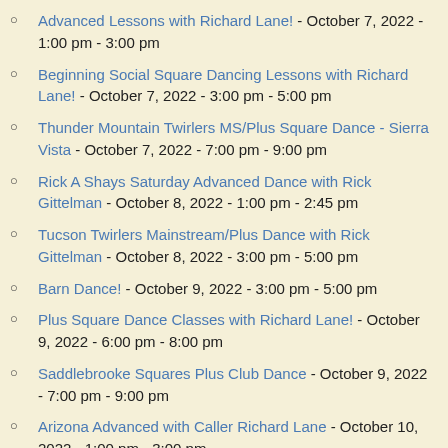Advanced Lessons with Richard Lane! - October 7, 2022 - 1:00 pm - 3:00 pm
Beginning Social Square Dancing Lessons with Richard Lane! - October 7, 2022 - 3:00 pm - 5:00 pm
Thunder Mountain Twirlers MS/Plus Square Dance - Sierra Vista - October 7, 2022 - 7:00 pm - 9:00 pm
Rick A Shays Saturday Advanced Dance with Rick Gittelman - October 8, 2022 - 1:00 pm - 2:45 pm
Tucson Twirlers Mainstream/Plus Dance with Rick Gittelman - October 8, 2022 - 3:00 pm - 5:00 pm
Barn Dance! - October 9, 2022 - 3:00 pm - 5:00 pm
Plus Square Dance Classes with Richard Lane! - October 9, 2022 - 6:00 pm - 8:00 pm
Saddlebrooke Squares Plus Club Dance - October 9, 2022 - 7:00 pm - 9:00 pm
Arizona Advanced with Caller Richard Lane - October 10, 2022 - 1:00 pm - 3:00 pm